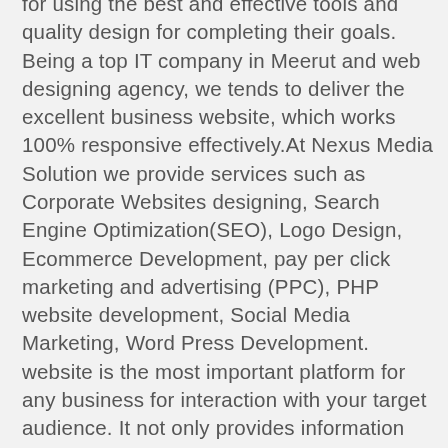for using the best and effective tools and quality design for completing their goals. Being a top IT company in Meerut and web designing agency, we tends to deliver the excellent business website, which works 100% responsive effectively.At Nexus Media Solution we provide services such as Corporate Websites designing, Search Engine Optimization(SEO), Logo Design, Ecommerce Development, pay per click marketing and advertising (PPC), PHP website development, Social Media Marketing, Word Press Development. website is the most important platform for any business for interaction with your target audience. It not only provides information about your business but also helps you to generate leads and increase sales of products and services offered by your company. Nexus Media Solution are well aware that what a website can do for the business it represents, and thus deliver website design services that reach target audience through creative website development and best website maker in meerut . Responsive websites developed by us are compatible with any device and are optimized to ensure fast load times to reduce bounce rate on website. And further, they are